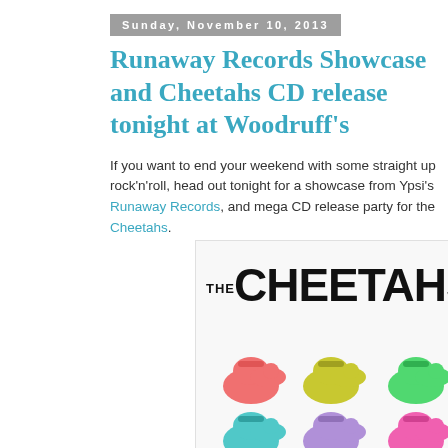Sunday, November 10, 2013
Runaway Records Showcase and Cheetahs CD release tonight at Woodruff's
If you want to end your weekend with some straight up rock'n'roll, head out tonight for a showcase from Ypsi's Runaway Records, and mega CD release party for the Cheetahs.
[Figure (illustration): The Cheetahs band logo and colorful cartoon animal figures (hippo-like creatures in pink, yellow, green, teal, purple, pink) arranged in two rows on a white background]